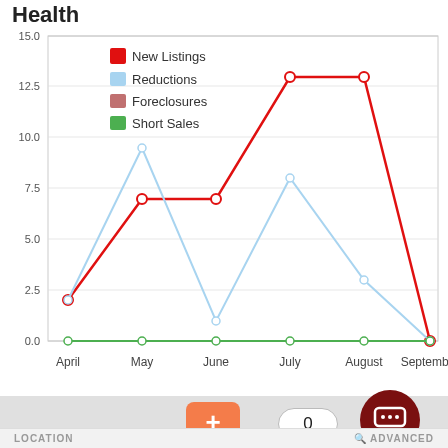Health
[Figure (line-chart): ]
LOCATION   ADVANCED